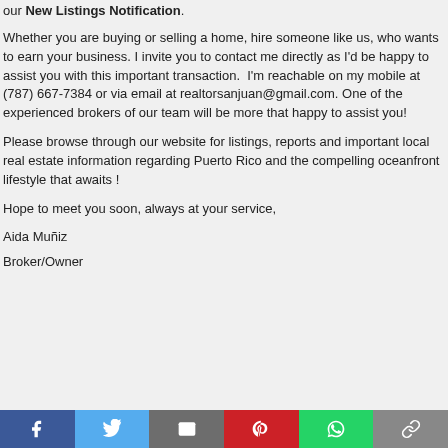our New Listings Notification.
Whether you are buying or selling a home, hire someone like us, who wants to earn your business. I invite you to contact me directly as I'd be happy to assist you with this important transaction.  I'm reachable on my mobile at (787) 667-7384 or via email at realtorsanjuan@gmail.com. One of the experienced brokers of our team will be more that happy to assist you!
Please browse through our website for listings, reports and important local real estate information regarding Puerto Rico and the compelling oceanfront lifestyle that awaits !
Hope to meet you soon, always at your service,
Aida Muñiz
Broker/Owner
Social share bar: Facebook, Twitter, Email, Pinterest, WhatsApp, Link